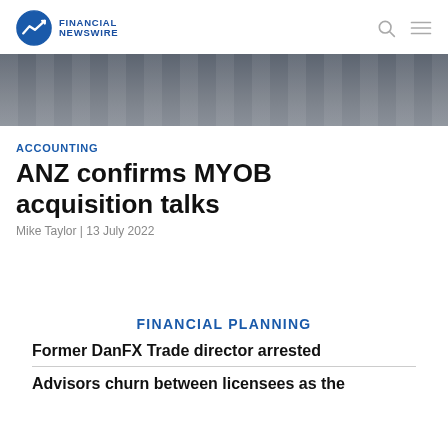FINANCIAL NEWSWIRE
[Figure (photo): Exterior building facade with horizontal louvers/slats in dark grey, partial view]
ACCOUNTING
ANZ confirms MYOB acquisition talks
Mike Taylor | 13 July 2022
FINANCIAL PLANNING
Former DanFX Trade director arrested
Advisors churn between licensees as the